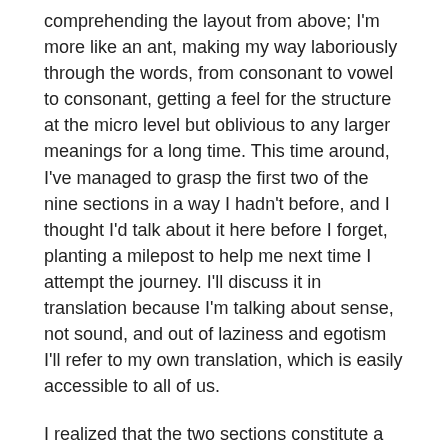comprehending the layout from above; I'm more like an ant, making my way laboriously through the words, from consonant to vowel to consonant, getting a feel for the structure at the micro level but oblivious to any larger meanings for a long time. This time around, I've managed to grasp the first two of the nine sections in a way I hadn't before, and I thought I'd talk about it here before I forget, planting a milepost to help me next time I attempt the journey. I'll discuss it in translation because I'm talking about sense, not sound, and out of laziness and egotism I'll refer to my own translation, which is easily accessible to all of us.
I realized that the two sections constitute a lovely ring structure, starting and ending in the same place and establishing what I think is the main theme of the poem, the confrontation of different layers of time. At the start, we are looking at trees and saying “That forest’s for ships and masts” — we are looking ahead into a possible future. We see them in imagination as the masts they should become, standing fast, “fitted to the dancing deck,” and our thoughts turn to the seafarer making use of them